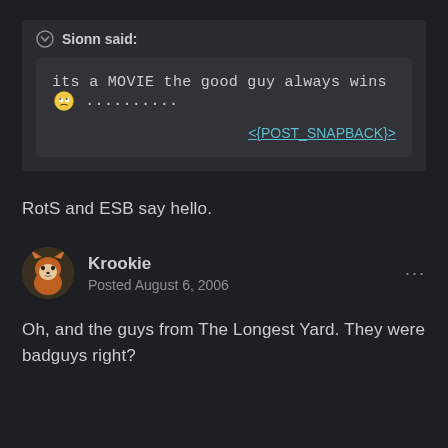Sionn said:
its a MOVIE the good guy always wins 😒 ..........
<{POST_SNAPBACK}>
RotS and ESB say hello.
Krookie
Posted August 6, 2006
Oh, and the guys from The Longest Yard. They were badguys right?